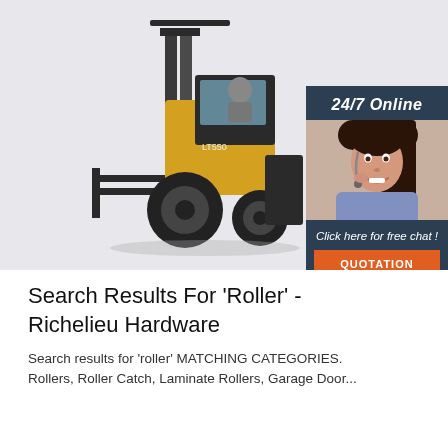[Figure (photo): A yellow forklift (model LT550) with a person seated in the operator seat, forks extended forward, shown on a light grey background. Overlaid in the bottom-right is a customer service chat widget showing '24/7 Online' text, a photo of a smiling woman with a headset, italic text 'Click here for free chat!', and an orange 'QUOTATION' button.]
Search Results For 'Roller' - Richelieu Hardware
Search results for 'roller' MATCHING CATEGORIES. Rollers, Roller Catch, Laminate Rollers, Garage Door...